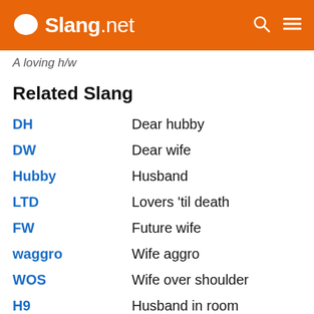Slang.net
A loving h/w
Related Slang
DH — Dear hubby
DW — Dear wife
Hubby — Husband
LTD — Lovers 'til death
FW — Future wife
waggro — Wife aggro
WOS — Wife over shoulder
H9 — Husband in room
Honeydude — A boyfriend or husband used for